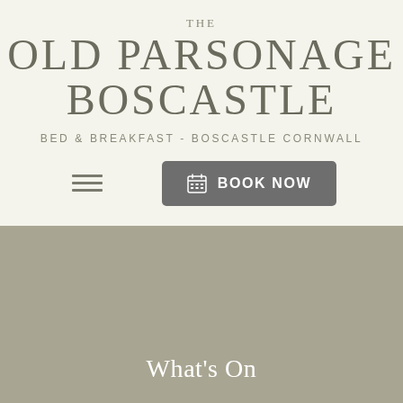THE OLD PARSONAGE BOSCASTLE
BED & BREAKFAST - BOSCASTLE CORNWALL
[Figure (screenshot): Navigation hamburger menu icon (three horizontal lines) on the left, and a grey 'BOOK NOW' button with calendar icon on the right]
[Figure (photo): Large grey-green muted background image section]
What's On